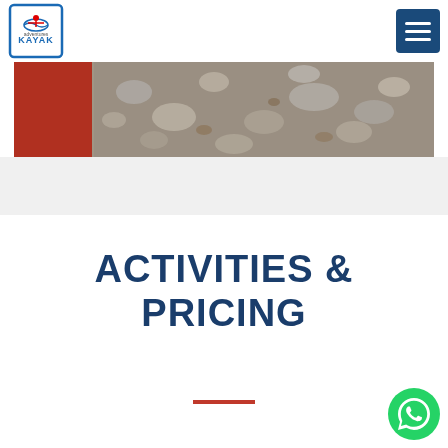Kayak Adventures - Navigation header with logo and hamburger menu
[Figure (photo): Outdoor rocky/pebble ground scene with red element on left side, grey/tan stones covering the surface]
ACTIVITIES & PRICING
[Figure (logo): WhatsApp green circular chat button in bottom right corner]